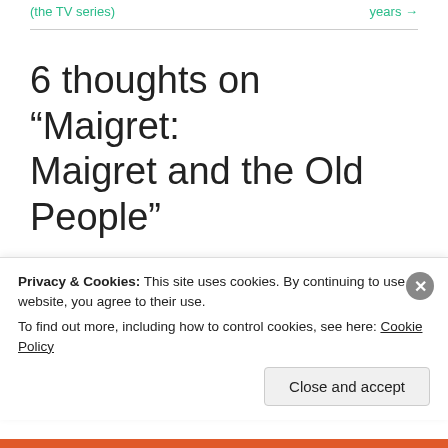(the TV series)    years →
6 thoughts on “Maigret: Maigret and the Old People”
fragglerocking
Privacy & Cookies: This site uses cookies. By continuing to use this website, you agree to their use.
To find out more, including how to control cookies, see here: Cookie Policy
Close and accept